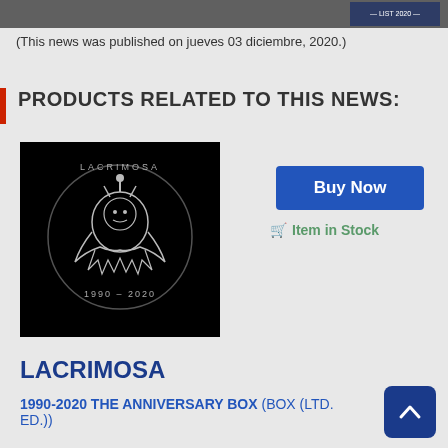[Figure (photo): Partial top image visible at top of page, dark/scene image]
(This news was published on jueves 03 diciembre, 2020.)
PRODUCTS RELATED TO THIS NEWS:
[Figure (photo): Lacrimosa 1990-2020 anniversary box album cover — black square with silver Lacrimosa logo and figure, text '1990 – 2020']
Buy Now
🛒 Item in Stock
LACRIMOSA
1990-2020 THE ANNIVERSARY BOX (BOX (LTD. ED.))